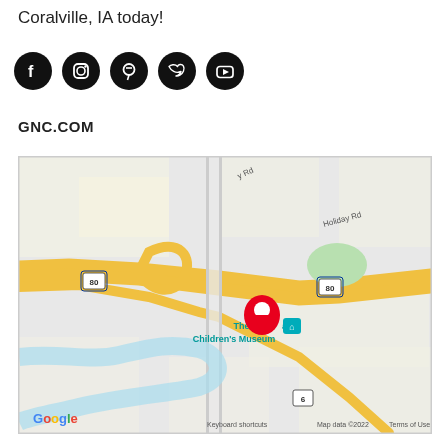Coralville, IA today!
[Figure (other): Social media icons: Facebook, Instagram, Pinterest, Twitter, YouTube — black circles with white symbols]
GNC.COM
[Figure (map): Google Maps showing location near The Iowa Children's Museum in Coralville, IA. Red location pin visible. Roads include I-80 and Holiday Rd. Map data ©2022.]